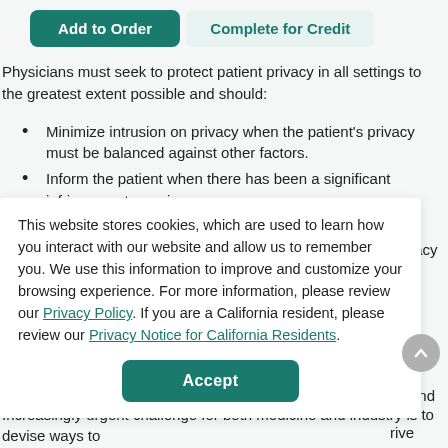[Figure (screenshot): Two buttons: 'Add to Order' (dark teal, filled) and 'Complete for Credit' (light teal, outlined)]
Physicians must seek to protect patient privacy in all settings to the greatest extent possible and should:
Minimize intrusion on privacy when the patient's privacy must be balanced against other factors.
Inform the patient when there has been a significant infringement on privacy
This website stores cookies, which are used to learn how you interact with our website and allow us to remember you. We use this information to improve and customize your browsing experience. For more information, please review our Privacy Policy. If you are a California resident, please review our Privacy Notice for California Residents.
Accept (button)
Increasingly urgent challenge for both medicine and industry is to devise ways to